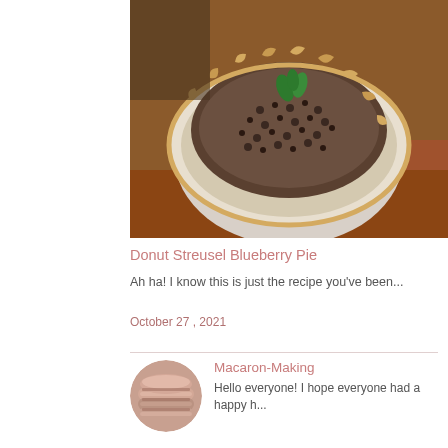[Figure (photo): Overhead close-up photo of a blueberry pie with a streusel topping and mint garnish, in a white pie dish on a wooden surface]
Donut Streusel Blueberry Pie
Ah ha!  I know this is just the recipe you've been...
October 27 , 2021
[Figure (photo): Circular thumbnail photo of stacked pink/brown macarons]
Macaron-Making
Hello everyone!  I hope everyone had a happy h...